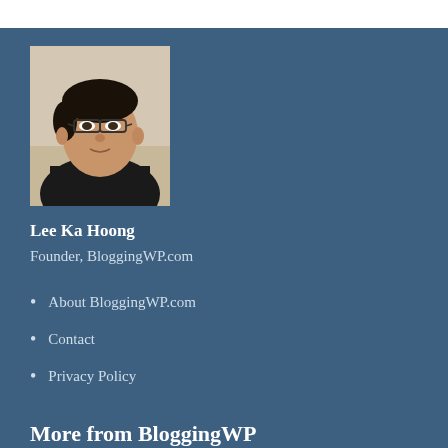[Figure (photo): Headshot photo of Lee Ka Hoong, a person with short dark hair and glasses, wearing a dark jacket, against a light background.]
Lee Ka Hoong
Founder, BloggingWP.com
About BloggingWP.com
Contact
Privacy Policy
More from BloggingWP
Advantages and Disadvantages of Google Drive